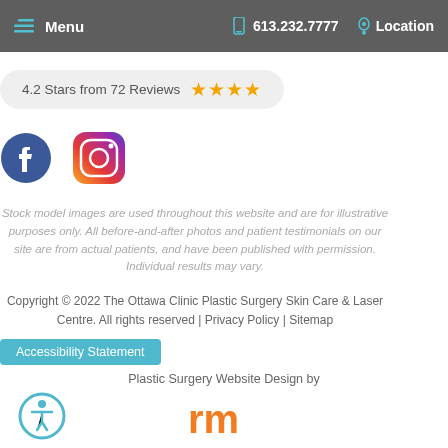Menu  613.232.7777  Location
4.2 Stars from 72 Reviews ★★★★
[Figure (logo): Facebook and Instagram social media icons]
Stock model images are used throughout this website and are for illustrative purposes only. All before-and-after photos and patient testimonials on our site are from actual patients, and have been published with permission. Individual results may vary.
Copyright © 2022 The Ottawa Clinic Plastic Surgery Skin Care & Laser Centre. All rights reserved | Privacy Policy | Sitemap
Accessibility Statement
Plastic Surgery Website Design by
[Figure (logo): rm logo in orange]
[Figure (logo): Accessibility icon - person in circle with teal border]